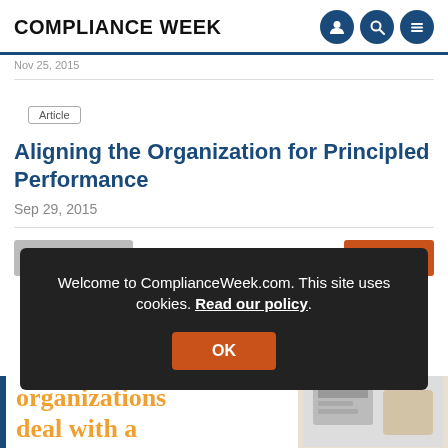COMPLIANCE WEEK
Nov 25, 2015
Article
Aligning the Organization for Principled Performance
Sep 29, 2015
« Previous
Next »
Welcome to ComplianceWeek.com. This site uses cookies. Read our policy.
OK
organizations deal with a